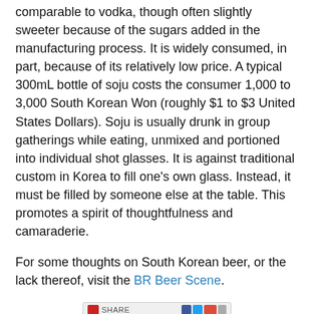comparable to vodka, though often slightly sweeter because of the sugars added in the manufacturing process. It is widely consumed, in part, because of its relatively low price. A typical 300mL bottle of soju costs the consumer 1,000 to 3,000 South Korean Won (roughly $1 to $3 United States Dollars). Soju is usually drunk in group gatherings while eating, unmixed and portioned into individual shot glasses. It is against traditional custom in Korea to fill one's own glass. Instead, it must be filled by someone else at the table. This promotes a spirit of thoughtfulness and camaraderie.
For some thoughts on South Korean beer, or the lack thereof, visit the BR Beer Scene.
[Figure (other): Share bar widget with social media icons (red share button, Facebook, Twitter, Google+, more)]
Thanks and Credits:
http://www.bishops.k12.nf.ca/janet/korfood.htm
http://www.asianinfo.org/asianinfo/korea/food.htm
http://bunnybreadsurprise.wordpress.com/2008/06/16/kimchi-yall/
http://geoffmartin.wordpress.com/2009/05/31/reflections-at-the-top-month-mark/